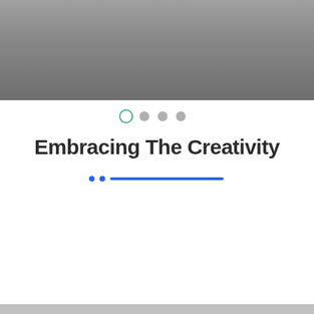[Figure (photo): A large rectangular image with a gray gradient background, darker at the bottom and lighter toward the top, occupying the upper portion of the page.]
[Figure (infographic): Pagination dots: one open circle (active, teal/green outline) followed by three filled gray circles, centered horizontally.]
Embracing The Creativity
[Figure (infographic): Decorative divider: two small blue dots followed by a blue horizontal line, centered below the title.]
[Figure (photo): A small partial gray image visible at the very bottom edge of the page.]